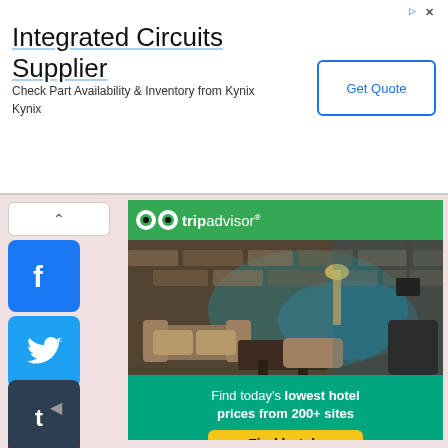[Figure (screenshot): Top ad banner for Integrated Circuits Supplier (Kynix) with Get Quote button and ad icons]
Integrated Circuits Supplier
Check Part Availability & Inventory from Kynix Kynix
[Figure (screenshot): Social media share sidebar with Facebook, Twitter, Pinterest, Tumblr, Reddit, WhatsApp icons and collapse chevron]
[Figure (screenshot): TripAdvisor advertisement showing hotel lounge interior photo with stone wall and blue lighting, and Find today's lowest hotel prices from 200+ sites banner with Find hotels button]